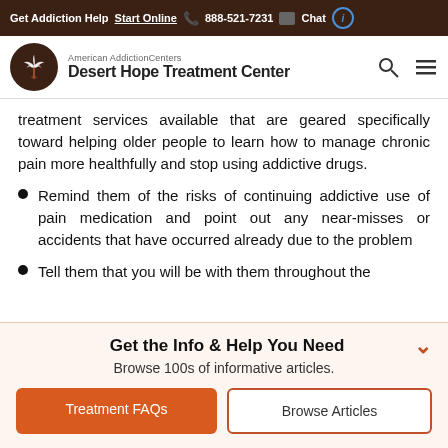Get Addiction Help  Start Online  888-521-7231  Chat
[Figure (logo): American Addiction Centers Desert Hope Treatment Center logo with palm tree circle icon]
treatment services available that are geared specifically toward helping older people to learn how to manage chronic pain more healthfully and stop using addictive drugs.
Remind them of the risks of continuing addictive use of pain medication and point out any near-misses or accidents that have occurred already due to the problem
Tell them that you will be with them throughout the
Get the Info & Help You Need
Browse 100s of informative articles.
Treatment FAQs  Browse Articles